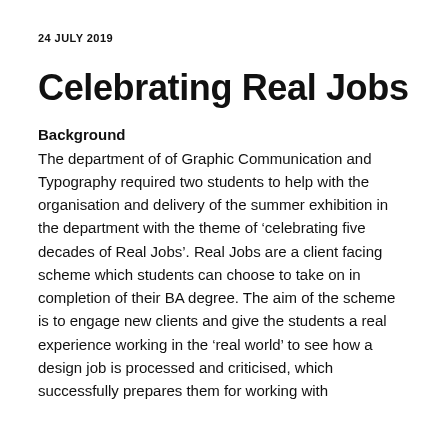24 JULY 2019
Celebrating Real Jobs
Background
The department of of Graphic Communication and Typography required two students to help with the organisation and delivery of the summer exhibition in the department with the theme of ‘celebrating five decades of Real Jobs’. Real Jobs are a client facing scheme which students can choose to take on in completion of their BA degree. The aim of the scheme is to engage new clients and give the students a real experience working in the ‘real world’ to see how a design job is processed and criticised, which successfully prepares them for working with